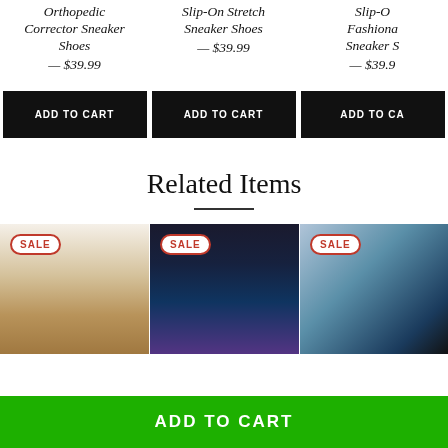Orthopedic Corrector Sneaker Shoes — $39.99
Slip-On Stretch Sneaker Shoes — $39.99
Slip-On Fashionable Sneaker Shoes — $39.99
ADD TO CART
ADD TO CART
ADD TO CART
Related Items
[Figure (photo): Sandal shoe product photo with SALE badge]
[Figure (photo): Floral patterned shoe product photo with SALE badge]
[Figure (photo): Dark shoe/clothing product photo with SALE badge]
ADD TO CART